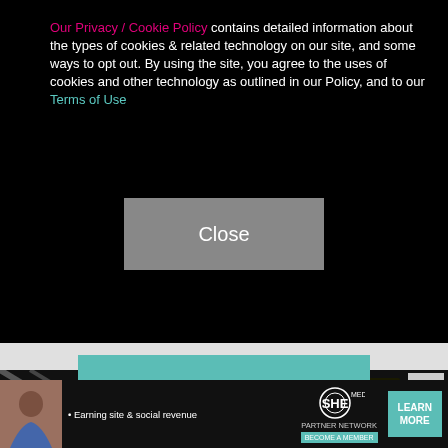Our Privacy / Cookie Policy contains detailed information about the types of cookies & related technology on our site, and some ways to opt out. By using the site, you agree to the uses of cookies and other technology as outlined in our Policy, and to our Terms of Use
[Figure (screenshot): Close button (grey rectangle with white text 'Close') on black cookie consent banner]
[Figure (infographic): Teal/mint colored advertisement block with bar chart growth icon, text 'Traffic growth', and a 'LEARN MORE' button]
[Figure (photo): Dark photo strip showing signage with text including KING-IN, CENTER, BRUCE LEE, in yellow on dark background]
[Figure (infographic): SHE Partner Network advertisement banner with woman photo, text '• Earning site & social revenue', SHE logo, and 'LEARN MORE / BECOME A MEMBER' button]